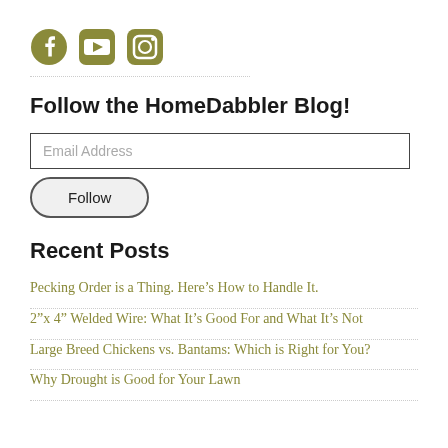[Figure (illustration): Three social media icons: Facebook, YouTube, and Instagram, rendered in olive/khaki green color]
Follow the HomeDabbler Blog!
Email Address [input field]
Follow [button]
Recent Posts
Pecking Order is a Thing. Here's How to Handle It.
2"x 4" Welded Wire: What It's Good For and What It's Not
Large Breed Chickens vs. Bantams: Which is Right for You?
Why Drought is Good for Your Lawn